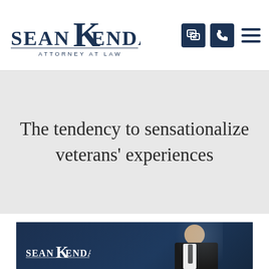Sean Kendall Attorney at Law
The tendency to sensationalize veterans' experiences
[Figure (photo): Sean Kendall attorney photo with logo overlay on dark navy background]